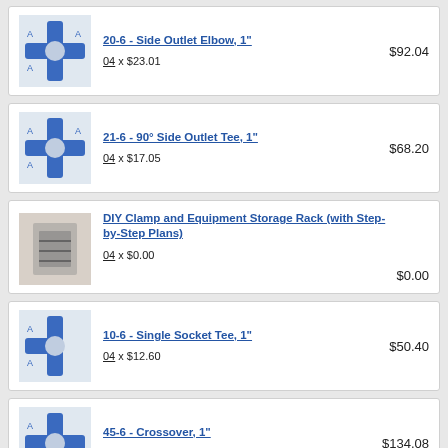20-6 - Side Outlet Elbow, 1"
04 x $23.01
$92.04
21-6 - 90° Side Outlet Tee, 1"
04 x $17.05
$68.20
DIY Clamp and Equipment Storage Rack (with Step-by-Step Plans)
04 x $0.00
$0.00
10-6 - Single Socket Tee, 1"
04 x $12.60
$50.40
45-6 - Crossover, 1"
08 x $16.76
$134.08